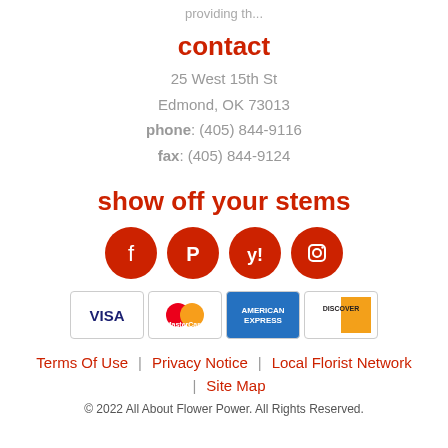providing th...
contact
25 West 15th St
Edmond, OK 73013
phone: (405) 844-9116
fax: (405) 844-9124
show off your stems
[Figure (other): Four red circular social media icons: Facebook, Pinterest, Yelp, Instagram]
[Figure (other): Payment card logos: VISA, MasterCard, American Express, Discover]
Terms Of Use | Privacy Notice | Local Florist Network | Site Map
© 2022 All About Flower Power. All Rights Reserved.